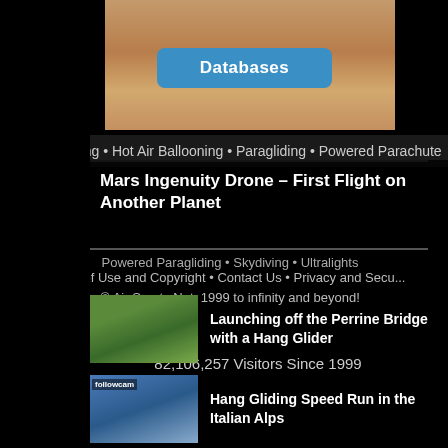[Figure (photo): Desert sand dunes landscape photo at top of page]
Databases
Hang Gliding • Hot Air Ballooning • Paragliding • Powered Parachute
Mars Ingenuity Drone – First Flight on Another Planet
Powered Paragliding • Skydiving • Ultralights
Terms of Use and Copyright • Contact Us • Privacy and Security
© Air Sports Net, 1999 to infinity and beyond!
82,106,257 Visitors Since 1999
[Figure (photo): Hang glider launching off Perrine Bridge thumbnail]
Launching off the Perrine Bridge with a Hang Glider
[Figure (photo): Followcam hang gliding speed run thumbnail]
Hang Gliding Speed Run in the Italian Alps
[Figure (photo): Emergency landing on highway thumbnail]
Emergency Landing on a Louisiana Highway
[Figure (photo): 103 year old skydiver thumbnail]
103 Year Old Skydiver Sets World Record